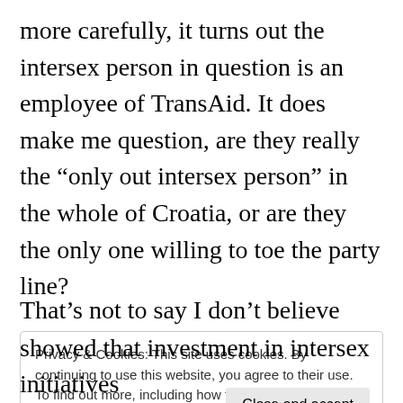more carefully, it turns out the intersex person in question is an employee of TransAid. It does make me question, are they really the “only out intersex person” in the whole of Croatia, or are they the only one willing to toe the party line?
That’s not to say I don’t believe intersex
Privacy & Cookies: This site uses cookies. By continuing to use this website, you agree to their use. To find out more, including how to c see here: Cookie Policy
showed that investment in intersex initiatives